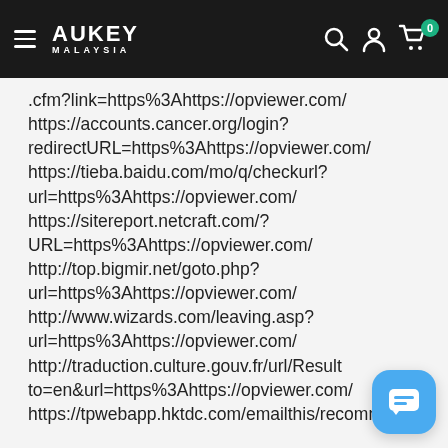AUKEY MALAYSIA — navigation bar with search, account, cart (0) icons
.cfm?link=https%3Ahttps://opviewer.com/
https://accounts.cancer.org/login?redirectURL=https%3Ahttps://opviewer.com/
https://tieba.baidu.com/mo/q/checkurl?url=https%3Ahttps://opviewer.com/
https://sitereport.netcraft.com/?URL=https%3Ahttps://opviewer.com/
http://top.bigmir.net/goto.php?url=https%3Ahttps://opviewer.com/
http://www.wizards.com/leaving.asp?url=https%3Ahttps://opviewer.com/
http://traduction.culture.gouv.fr/url/Result to=en&url=https%3Ahttps://opviewer.com/
https://tpwebapp.hktdc.com/emailthis/recommen